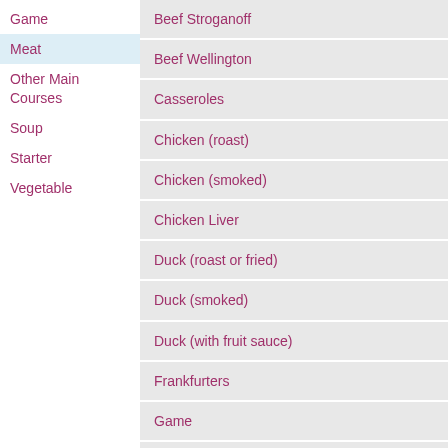Game
Meat
Other Main Courses
Soup
Starter
Vegetable
Beef Stroganoff
Beef Wellington
Casseroles
Chicken (roast)
Chicken (smoked)
Chicken Liver
Duck (roast or fried)
Duck (smoked)
Duck (with fruit sauce)
Frankfurters
Game
Goose
Haggis
Ham